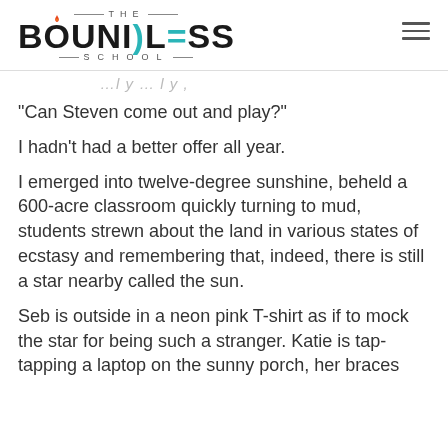[Figure (logo): The Boundless School logo with flame icon on letter O and teal colored SS letters, with hamburger menu icon on the right]
…l y … l y ,
“Can Steven come out and play?”
I hadn’t had a better offer all year.
I emerged into twelve-degree sunshine, beheld a 600-acre classroom quickly turning to mud, students strewn about the land in various states of ecstasy and remembering that, indeed, there is still a star nearby called the sun.
Seb is outside in a neon pink T-shirt as if to mock the star for being such a stranger. Katie is tap-tapping a laptop on the sunny porch, her braces…